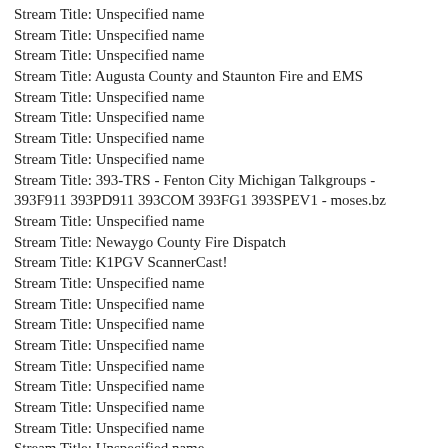Stream Title: Unspecified name
Stream Title: Unspecified name
Stream Title: Unspecified name
Stream Title: Augusta County and Staunton Fire and EMS
Stream Title: Unspecified name
Stream Title: Unspecified name
Stream Title: Unspecified name
Stream Title: Unspecified name
Stream Title: 393-TRS - Fenton City Michigan Talkgroups - 393F911 393PD911 393COM 393FG1 393SPEV1 - moses.bz
Stream Title: Unspecified name
Stream Title: Newaygo County Fire Dispatch
Stream Title: K1PGV ScannerCast!
Stream Title: Unspecified name
Stream Title: Unspecified name
Stream Title: Unspecified name
Stream Title: Unspecified name
Stream Title: Unspecified name
Stream Title: Unspecified name
Stream Title: Unspecified name
Stream Title: Unspecified name
Stream Title: Unspecified name
Stream Title: Unspecified name
Stream Title: Syracuse Police, Fire and EMS
Stream Title: Unspecified name